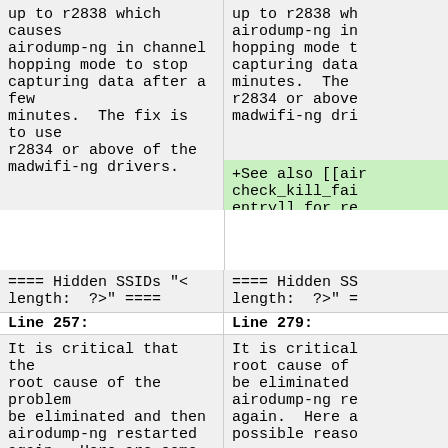up to r2838 which causes airodump-ng in channel hopping mode to stop capturing data after a few minutes.  The fix is to use r2834 or above of the madwifi-ng drivers.
up to r2838 which causes airodump-ng in channel hopping mode to stop capturing data after a few minutes.  The fix is to use r2834 or above of the madwifi-ng drivers.
+See also [[aircheck_kill_fai entry]] for re
==== Hidden SSIDs "< length:  ?>" ====
==== Hidden SSIDs "< length:  ?>" ====
Line 257:
Line 279:
It is critical that the root cause of the problem be eliminated and then airodump-ng restarted again.  Here are some possible reasons and how to
It is critical that the root cause of the problem be eliminated and then airodump-ng restarted again.  Here are some possible reaso